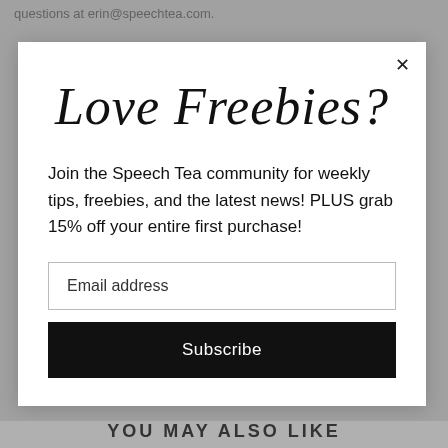questions at erin@speechtea.com.
[Figure (screenshot): Modal popup with script title 'Love Freebies?', body text about joining Speech Tea community, email input field, and Subscribe button]
Join the Speech Tea community for weekly tips, freebies, and the latest news! PLUS grab 15% off your entire first purchase!
Email address
Subscribe
YOU MAY ALSO LIKE